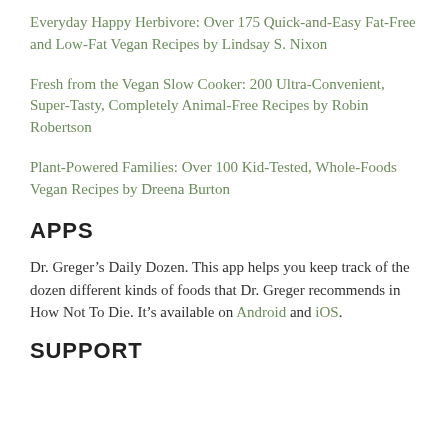Everyday Happy Herbivore: Over 175 Quick-and-Easy Fat-Free and Low-Fat Vegan Recipes by Lindsay S. Nixon
Fresh from the Vegan Slow Cooker: 200 Ultra-Convenient, Super-Tasty, Completely Animal-Free Recipes by Robin Robertson
Plant-Powered Families: Over 100 Kid-Tested, Whole-Foods Vegan Recipes by Dreena Burton
APPS
Dr. Greger’s Daily Dozen. This app helps you keep track of the dozen different kinds of foods that Dr. Greger recommends in How Not To Die. It’s available on Android and iOS.
SUPPORT